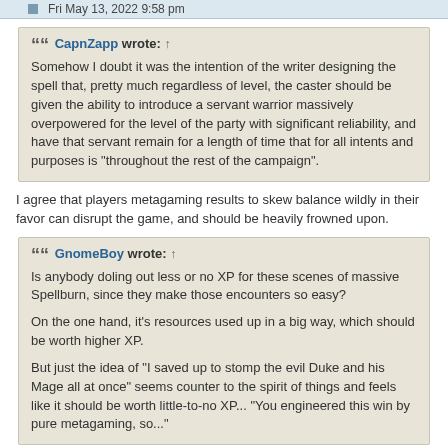Fri May 13, 2022 9:58 pm
CapnZapp wrote: ↑
Somehow I doubt it was the intention of the writer designing the spell that, pretty much regardless of level, the caster should be given the ability to introduce a servant warrior massively overpowered for the level of the party with significant reliability, and have that servant remain for a length of time that for all intents and purposes is "throughout the rest of the campaign".
I agree that players metagaming results to skew balance wildly in their favor can disrupt the game, and should be heavily frowned upon.
GnomeBoy wrote: ↑
Is anybody doling out less or no XP for these scenes of massive Spellburn, since they make those encounters so easy?

On the one hand, it's resources used up in a big way, which should be worth higher XP.

But just the idea of "I saved up to stomp the evil Duke and his Mage all at once" seems counter to the spirit of things and feels like it should be worth little-to-no XP... "You engineered this win by pure metagaming, so..."